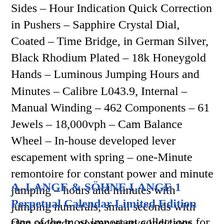Sides – Hour Indication Quick Correction in Pushers – Sapphire Crystal Dial, Coated – Time Bridge, in German Silver, Black Rhodium Plated – 18k Honeygold Hands – Luminous Jumping Hours and Minutes – Calibre L043.9, Internal – Manual Winding – 462 Components – 61 Jewels – 18,000vph – Cam Balance Wheel – In-house developed lever escapement with spring – one-Minute remontoire for constant power and minute jumping – hours and minutes with jumping numerals, small seconds with stop seconds, power reserve indicator.
A. LANGE & SÖHNE LANGE 1 Perpetual Calendar Limited Edition
One of the most important collections for A. Lange